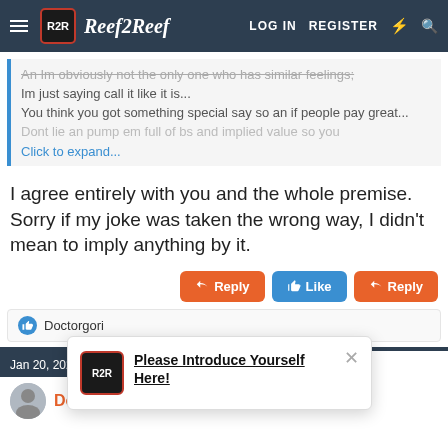Reef2Reef LOG IN REGISTER
An Im obviously not the only one who has similar feelings; Im just saying call it like it is... You think you got something special say so an if people pay great... Dont lie an pump em full of bs and implied value so you Click to expand...
I agree entirely with you and the whole premise. Sorry if my joke was taken the wrong way, I didn't mean to imply anything by it.
Reply Like Reply
Doctorgori
Jan 20, 2022
Doctorgori
[Figure (screenshot): Notification popup: Please Introduce Yourself Here! with close button and Reef2Reef logo]